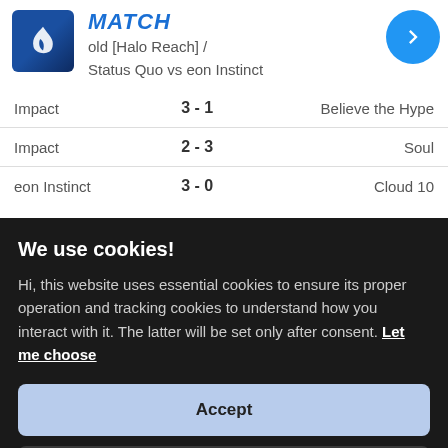MATCH
old [Halo Reach] /
Status Quo vs eon Instinct
| Map | Score | Team |
| --- | --- | --- |
| Impact | 3 - 1 | Believe the Hype |
| Impact | 2 - 3 | Soul |
| eon Instinct | 3 - 0 | Cloud 10 |
We use cookies!
Hi, this website uses essential cookies to ensure its proper operation and tracking cookies to understand how you interact with it. The latter will be set only after consent. Let me choose
Accept
Reject
| Map | Score | Team |
| --- | --- | --- |
| Triggers Down | 5 - 0 | Cyber Bullies |